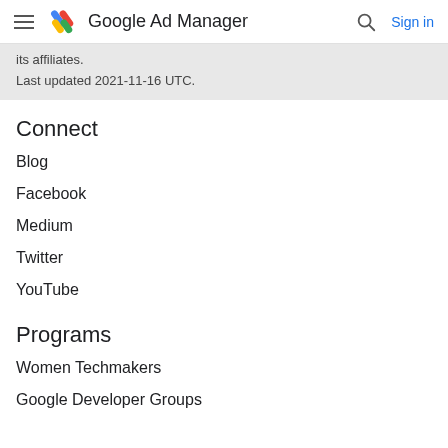Google Ad Manager  Sign in
its affiliates.
Last updated 2021-11-16 UTC.
Connect
Blog
Facebook
Medium
Twitter
YouTube
Programs
Women Techmakers
Google Developer Groups